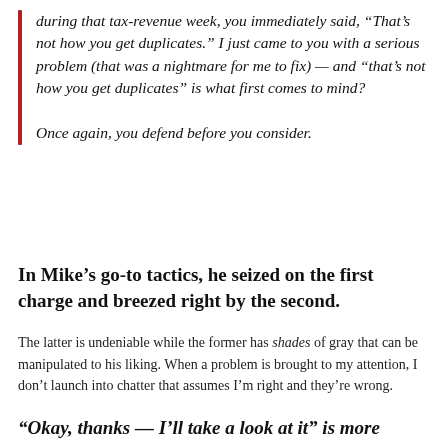during that tax-revenue week, you immediately said, “That’s not how you get duplicates.” I just came to you with a serious problem (that was a nightmare for me to fix) — and “that’s not how you get duplicates” is what first comes to mind?

Once again, you defend before you consider.
In Mike’s go-to tactics, he seized on the first charge and breezed right by the second.
The latter is undeniable while the former has shades of gray that can be manipulated to his liking. When a problem is brought to my attention, I don’t launch into chatter that assumes I’m right and they’re wrong.
“Okay, thanks — I’ll take a look at it” is more